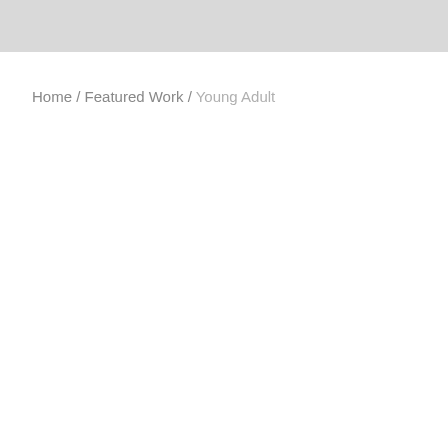Home / Featured Work / Young Adult